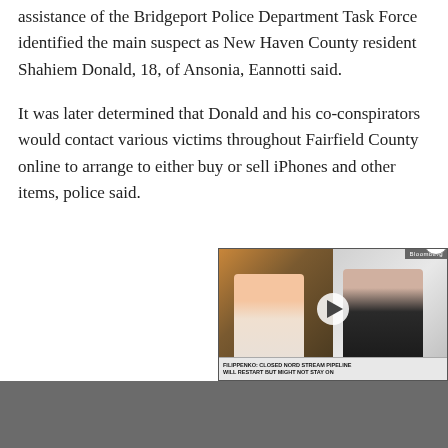assistance of the Bridgeport Police Department Task Force identified the main suspect as New Haven County resident Shahiem Donald, 18, of Ansonia, Eannotti said.
It was later determined that Donald and his co-conspirators would contact various victims throughout Fairfield County online to arrange to either buy or sell iPhones and other items, police said.
[Figure (screenshot): Bloomberg TV video player embedded in news article showing two people (TV anchor on left, interview subject on right) with lower-third chyron reading 'FILIPPENKO: CLOSED NORD STREAM PIPELINE WILL RESTART BUT MIGHT NOT STAY ON'. A play button is visible in the center and a close (X) button appears at top right.]